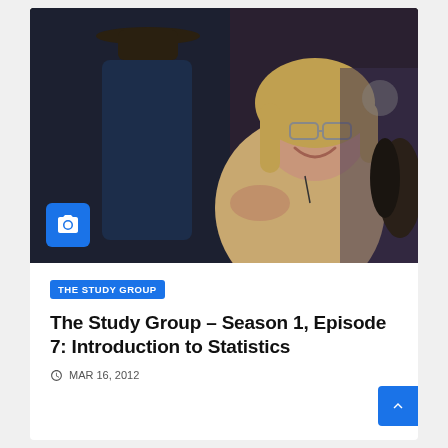[Figure (photo): Two people interacting in what appears to be a classroom or community setting. One person is wearing a cowboy hat and blue jacket facing away from camera, the other is a smiling older woman with blonde hair and glasses wearing a beige sweater, reaching out her hand.]
THE STUDY GROUP
The Study Group – Season 1, Episode 7: Introduction to Statistics
MAR 16, 2012